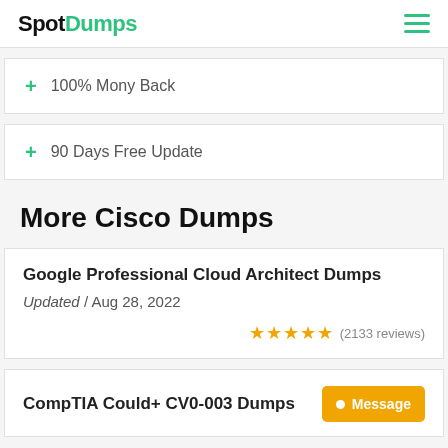SpotDumps
+ 100% Mony Back
+ 90 Days Free Update
More Cisco Dumps
Google Professional Cloud Architect Dumps
Updated / Aug 28, 2022
★★★★★ (2133 reviews)
CompTIA Could+ CV0-003 Dumps